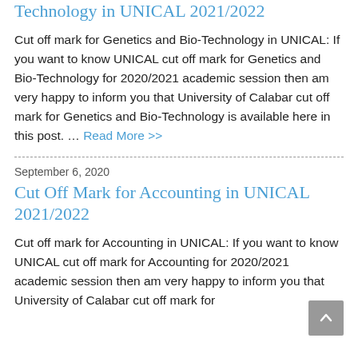Technology in UNICAL 2021/2022
Cut off mark for Genetics and Bio-Technology in UNICAL: If you want to know UNICAL cut off mark for Genetics and Bio-Technology for 2020/2021 academic session then am very happy to inform you that University of Calabar cut off mark for Genetics and Bio-Technology is available here in this post. … Read More >>
September 6, 2020
Cut Off Mark for Accounting in UNICAL 2021/2022
Cut off mark for Accounting in UNICAL: If you want to know UNICAL cut off mark for Accounting for 2020/2021 academic session then am very happy to inform you that University of Calabar cut off mark for